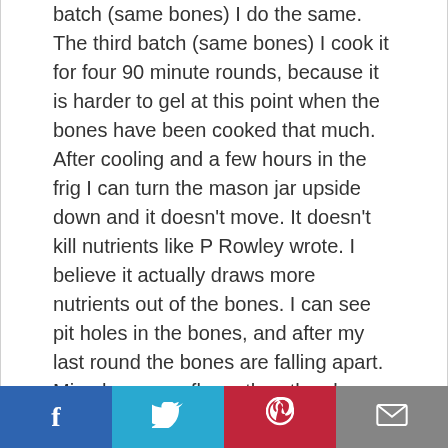batch (same bones) I do the same. The third batch (same bones) I cook it for four 90 minute rounds, because it is harder to gel at this point when the bones have been cooked that much. After cooling and a few hours in the frig I can turn the mason jar upside down and it doesn't move. It doesn't kill nutrients like P Rowley wrote. I believe it actually draws more nutrients out of the bones. I can see pit holes in the bones, and after my last round the bones are falling apart. Mine has more flavor than the slow cooker method that I used to use.
Reply
Social share bar: Facebook, Twitter, Pinterest, Email